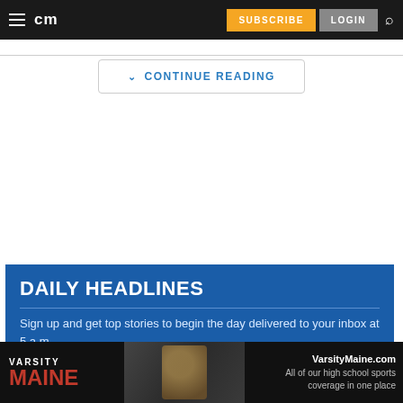cm | SUBSCRIBE | LOGIN
CONTINUE READING
DAILY HEADLINES
Sign up and get top stories to begin the day delivered to your inbox at 5 a.m.
[Figure (screenshot): Advertisement banner for VarsityMaine.com showing football players and text 'VarsityMaine.com All of our high school sports coverage in one place']